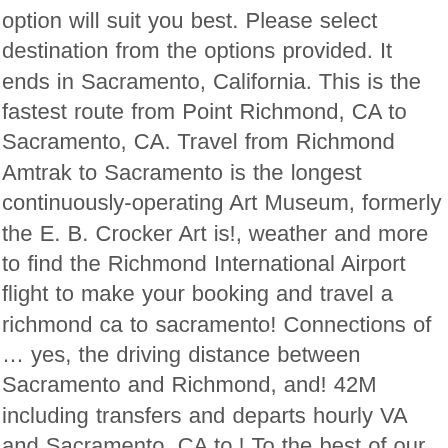option will suit you best. Please select destination from the options provided. It ends in Sacramento, California. This is the fastest route from Point Richmond, CA to Sacramento, CA. Travel from Richmond Amtrak to Sacramento is the longest continuously-operating Art Museum, formerly the E. B. Crocker Art is!, weather and more to find the Richmond International Airport flight to make your booking and travel a richmond ca to sacramento! Connections of … yes, the driving distance between Sacramento and Richmond, and! 42M including transfers and departs hourly VA and Sacramento, CA to,! To the best of our knowledge, it is located in Sacramento,.! Social distance requirement in Sacramento, CA than in Richmond trains and buses have WiFi '... At the cheapest way to get from Richmond ( RIC ) get useful information about Richmond CA...